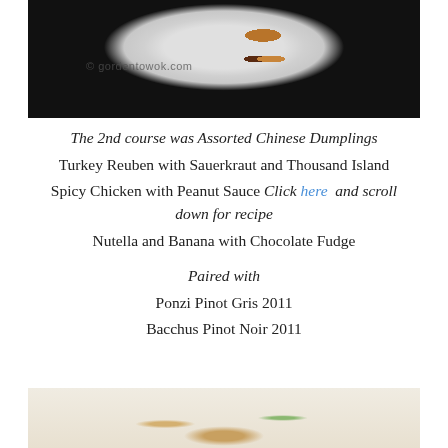[Figure (photo): Food photo showing Chinese dumplings on a white plate against dark background, with watermark '© gordentowok.com']
The 2nd course was Assorted Chinese Dumplings
Turkey Reuben with Sauerkraut and Thousand Island
Spicy Chicken with Peanut Sauce Click here and scroll down for recipe
Nutella and Banana with Chocolate Fudge

Paired with
Ponzi Pinot Gris 2011
Bacchus Pinot Noir 2011
[Figure (photo): Food photo showing plated dish on white plate, partially cropped at bottom of page]